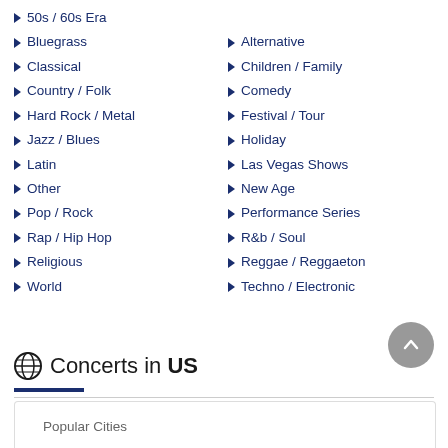50s / 60s Era
Bluegrass
Alternative
Classical
Children / Family
Country / Folk
Comedy
Hard Rock / Metal
Festival / Tour
Jazz / Blues
Holiday
Latin
Las Vegas Shows
Other
New Age
Pop / Rock
Performance Series
Rap / Hip Hop
R&b / Soul
Religious
Reggae / Reggaeton
World
Techno / Electronic
Concerts in US
Popular Cities